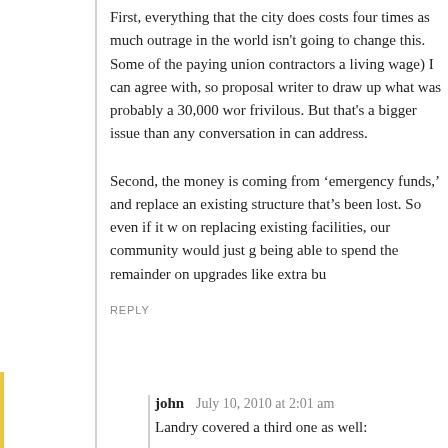First, everything that the city does costs four times as much outrage in the world isn't going to change this. Some of the paying union contractors a living wage) I can agree with, so proposal writer to draw up what was probably a 30,000 wor frivilous. But that's a bigger issue than any conversation in can address.
Second, the money is coming from 'emergency funds,' and replace an existing structure that's been lost. So even if it w on replacing existing facilities, our community would just g being able to spend the remainder on upgrades like extra bu
REPLY
john   July 10, 2010 at 2:01 am
Landry covered a third one as well:
“and the added construction cost of bringing services (p new location (which, by the way, is the main cost of a g